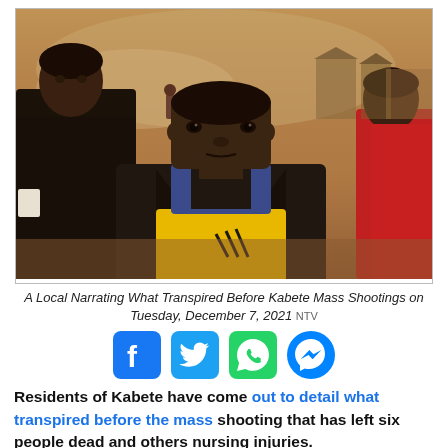[Figure (photo): A local man narrating what transpired before the Kabete mass shootings, standing in a crowded outdoor area with smoky/dusty background. He is wearing a dark jacket over a yellow shirt. Other people visible behind him.]
A Local Narrating What Transpired Before Kabete Mass Shootings on Tuesday, December 7, 2021  NTV
[Figure (infographic): Social media share icons: Facebook, Twitter, WhatsApp, Messenger]
Residents of Kabete have come out to detail what transpired before the mass shooting that has left six people dead and others nursing injuries.
Speaking to a local media station on Tuesday, December 7, the residents have stated that the incident happened around 3 am in the organized...